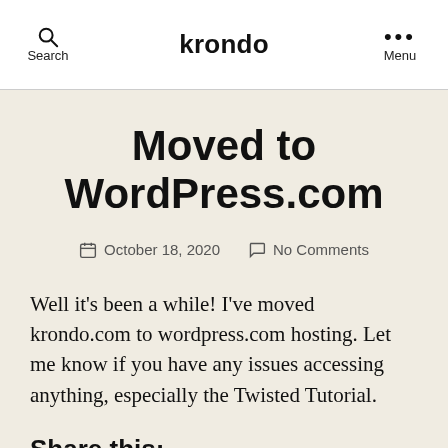Search   krondo   Menu
Moved to WordPress.com
October 18, 2020   No Comments
Well it’s been a while! I’ve moved krondo.com to wordpress.com hosting. Let me know if you have any issues accessing anything, especially the Twisted Tutorial.
Share this: